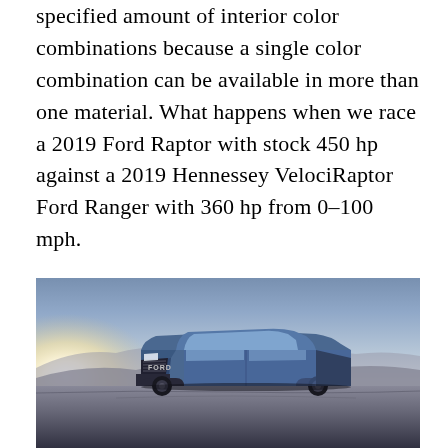specified amount of interior color combinations because a single color combination can be available in more than one material. What happens when we race a 2019 Ford Raptor with stock 450 hp against a 2019 Hennessey VelociRaptor Ford Ranger with 360 hp from 0-100 mph.
[Figure (photo): A blue Ford Ranger (likely Hennessey VelociRaptor) pickup truck photographed from a low front angle against a dramatic sky with desert/mountain background and sun glare on the left side.]